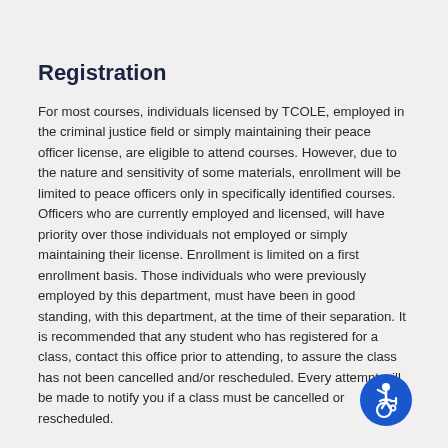Registration
For most courses, individuals licensed by TCOLE, employed in the criminal justice field or simply maintaining their peace officer license, are eligible to attend courses. However, due to the nature and sensitivity of some materials, enrollment will be limited to peace officers only in specifically identified courses. Officers who are currently employed and licensed, will have priority over those individuals not employed or simply maintaining their license. Enrollment is limited on a first enrollment basis. Those individuals who were previously employed by this department, must have been in good standing, with this department, at the time of their separation. It is recommended that any student who has registered for a class, contact this office prior to attending, to assure the class has not been cancelled and/or rescheduled. Every attempt will be made to notify you if a class must be cancelled or rescheduled.
[Figure (illustration): Accessibility icon — blue circle with white wheelchair user symbol]